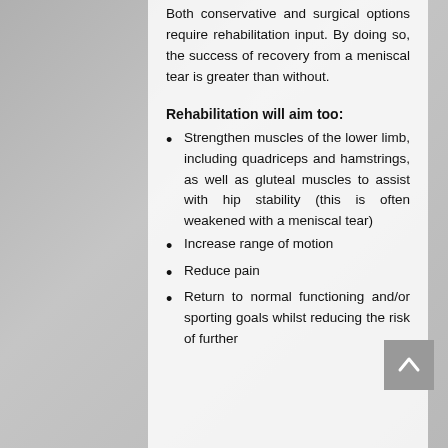Both conservative and surgical options require rehabilitation input. By doing so, the success of recovery from a meniscal tear is greater than without.
Rehabilitation will aim too:
Strengthen muscles of the lower limb, including quadriceps and hamstrings, as well as gluteal muscles to assist with hip stability (this is often weakened with a meniscal tear)
Increase range of motion
Reduce pain
Return to normal functioning and/or sporting goals whilst reducing the risk of further